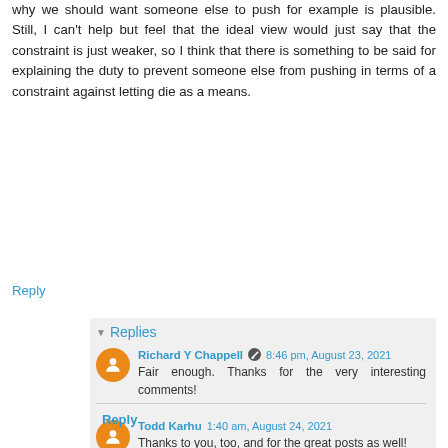why we should want someone else to push for example is plausible. Still, I can't help but feel that the ideal view would just say that the constraint is just weaker, so I think that there is something to be said for explaining the duty to prevent someone else from pushing in terms of a constraint against letting die as a means.
Reply
Replies
Richard Y Chappell  8:46 pm, August 23, 2021
Fair enough. Thanks for the very interesting comments!
Todd Karhu  1:40 am, August 24, 2021
Thanks to you, too, and for the great posts as well!
Reply